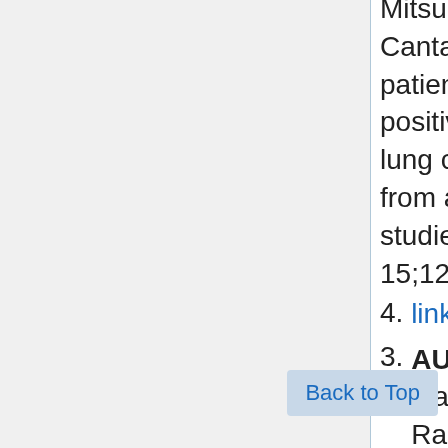Mitsudomi T, Jänne PA, Mann H, Cantarini M, Goss G. Osimertinib in patients with T790M mutation-positive, advanced non-small cell lung cancer: Long-term follow-up from a pooled analysis of 2 phase 2 studies. Cancer. 2019 Mar 15;125(6):892-901. Epub 2018 Dec 4. link to original article PubMed
AURA3: Mok TS, Wu YL, Ahn MJ, Garassino MC, Kim HR, Ramalingam SS, Shepherd FA, He Y, Akamatsu H, Theelen WS, Lee CK, Sebastian M, Templeton A, Mann H, Marotti M, S, Papadimitrakopoulou VA; AURA3 Investigators. Osimertinib